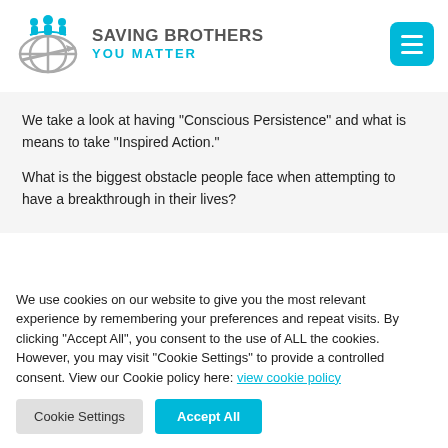[Figure (logo): Saving Brothers You Matter logo with cyan figures and globe icon]
We take a look at having “Conscious Persistence” and what is means to take “Inspired Action.”

What is the biggest obstacle people face when attempting to have a breakthrough in their lives?
We use cookies on our website to give you the most relevant experience by remembering your preferences and repeat visits. By clicking “Accept All”, you consent to the use of ALL the cookies. However, you may visit “Cookie Settings” to provide a controlled consent. View our Cookie policy here: view cookie policy